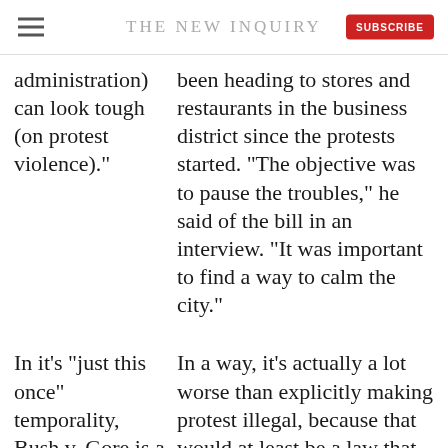THE NEW INQUIRY
administration) can look tough (on protest violence)."
been heading to stores and restaurants in the business district since the protests started. "The objective was to pause the troubles," he said of the bill in an interview. "It was important to find a way to calm the city."
In it's "just this once" temporality, Bush v. Gore is a point of comparison here
In a way, it’s actually a lot worse than explicitly making protest illegal, because that would at least be a law that could be consistently applied.